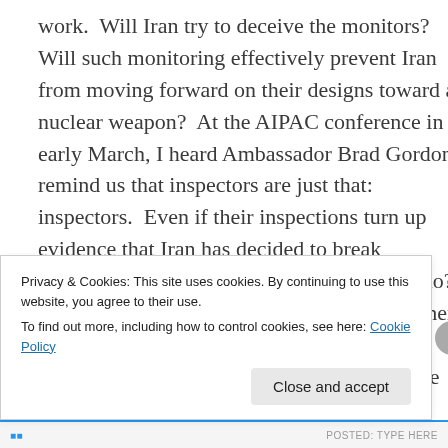work.  Will Iran try to deceive the monitors?  Will such monitoring effectively prevent Iran from moving forward on their designs toward a nuclear weapon?  At the AIPAC conference in early March, I heard Ambassador Brad Gordon remind us that inspectors are just that: inspectors.  Even if their inspections turn up evidence that Iran has decided to break provisions of the agreement, what can they do?  How fast can the world's leaders come together to address that eventuality?  It took years of careful diplomacy and negotiations to impose the sanctions regime that brought Iran to the table.  How long would it take to impose such
Privacy & Cookies: This site uses cookies. By continuing to use this website, you agree to their use.
To find out more, including how to control cookies, see here: Cookie Policy